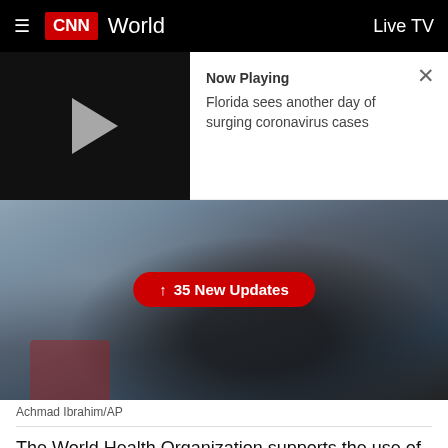CNN World | Live TV
[Figure (screenshot): Video player showing 'Now Playing: Florida sees another day of surging coronavirus cases' with a play button on the left and an X close button on the right]
[Figure (photo): Person wearing a face shield and mask, photographed from behind/side. A red button overlay reads '↑ 35 New Updates']
Achmad Ibrahim/AP
The World Health Organization supports the use of masks as part of a comprehensive strategy for Covid-19, but they cannot be used as a substitute for other